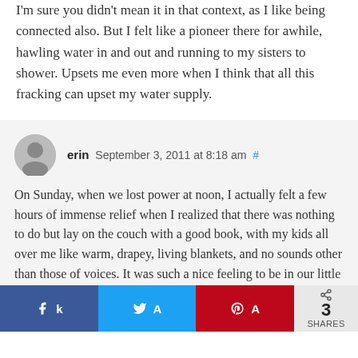I'm sure you didn't mean it in that context, as I like being connected also. But I felt like a pioneer there for awhile, hawling water in and out and running to my sisters to shower. Upsets me even more when I think that all this fracking can upset my water supply.
erin  September 3, 2011 at 8:18 am  #
On Sunday, when we lost power at noon, I actually felt a few hours of immense relief when I realized that there was nothing to do but lay on the couch with a good book, with my kids all over me like warm, drapey, living blankets, and no sounds other than those of voices. It was such a nice feeling to be in our little cocoon for a while. Of course after about 5 hours I started to panic a